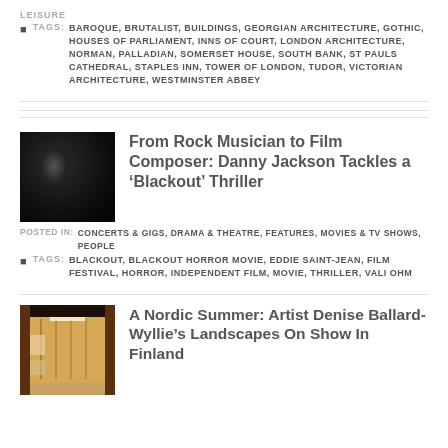LEISURE
TAGS: BAROQUE, BRUTALIST, BUILDINGS, GEORGIAN ARCHITECTURE, GOTHIC, HOUSES OF PARLIAMENT, INNS OF COURT, LONDON ARCHITECTURE, NORMAN, PALLADIAN, SOMERSET HOUSE, SOUTH BANK, ST PAULS CATHEDRAL, STAPLES INN, TOWER OF LONDON, TUDOR, VICTORIAN ARCHITECTURE, WESTMINSTER ABBEY
From Rock Musician to Film Composer: Danny Jackson Tackles a ‘Blackout’ Thriller
POSTED IN: CONCERTS & GIGS, DRAMA & THEATRE, FEATURES, MOVIES & TV SHOWS, PEOPLE
TAGS: BLACKOUT, BLACKOUT HORROR MOVIE, EDDIE SAINT-JEAN, FILM FESTIVAL, HORROR, INDEPENDENT FILM, MOVIE, THRILLER, VALI OHM
[Figure (photo): Dark black and white photo of a musician]
A Nordic Summer: Artist Denise Ballard-Wyllie’s Landscapes On Show In Finland
[Figure (photo): Interior hallway of a gallery with warm wooden walls and artwork displayed]